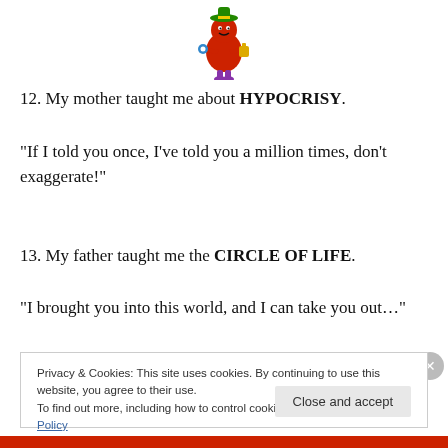[Figure (illustration): Cartoon character - a small round red figure wearing colorful clothes and a green hat, carrying a bag]
12. My mother taught me about HYPOCRISY.
“If I told you once, I’ve told you a million times, don’t exaggerate!”
13. My father taught me the CIRCLE OF LIFE.
“I brought you into this world, and I can take you out…”
Privacy & Cookies: This site uses cookies. By continuing to use this website, you agree to their use. To find out more, including how to control cookies, see here: Cookie Policy
Close and accept